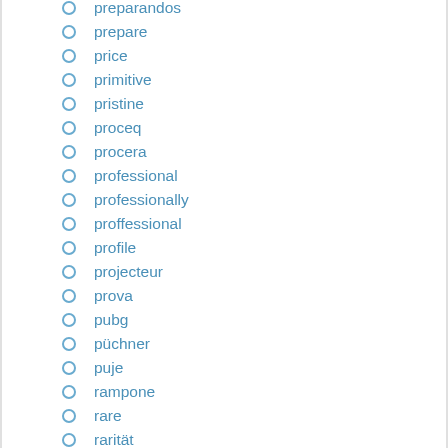preparandos
prepare
price
primitive
pristine
proceq
procera
professional
professionally
proffessional
profile
projecteur
prova
pubg
püchner
puje
rampone
rare
rarität
real